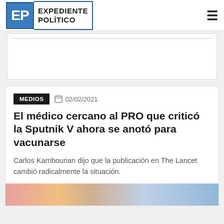EXPEDIENTE POLÍTICO
[Figure (other): Advertisement/banner area with white box and horizontal rule]
MEDIOS  02/02/2021
El médico cercano al PRO que criticó la Sputnik V ahora se anotó para vacunarse
Carlos Kambourian dijo que la publicación en The Lancet cambió radicalmente la situación.
[Figure (photo): Partial photo strip at the bottom of the article card]